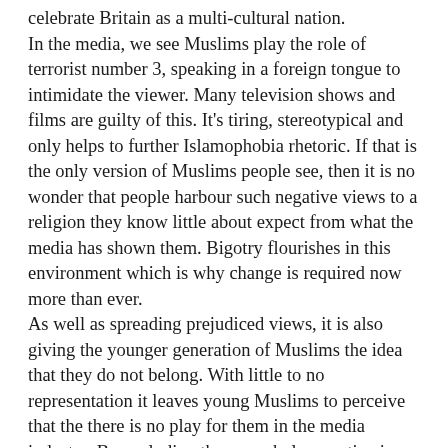celebrate Britain as a multi-cultural nation. In the media, we see Muslims play the role of terrorist number 3, speaking in a foreign tongue to intimidate the viewer. Many television shows and films are guilty of this. It's tiring, stereotypical and only helps to further Islamophobia rhetoric. If that is the only version of Muslims people see, then it is no wonder that people harbour such negative views to a religion they know little about expect from what the media has shown them. Bigotry flourishes in this environment which is why change is required now more than ever. As well as spreading prejudiced views, it is also giving the younger generation of Muslims the idea that they do not belong. With little to no representation it leaves young Muslims to perceive that the there is no play for them in the media industry. By excluding them, a whole narrative is missing, a unique perspective that won't be shared. Yes, anyone can write a Muslim character or play one, but they will not be able to understand the unique British Muslim experience. It's a whole generation of young people only